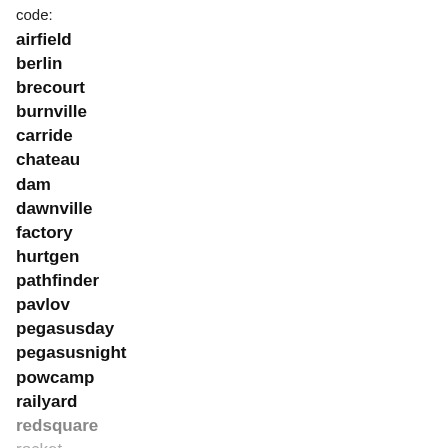code:
airfield
berlin
brecourt
burnville
carride
chateau
dam
dawnville
factory
hurtgen
pathfinder
pavlov
pegasusday
pegasusnight
powcamp
railyard
redsquare
rocket
sewer